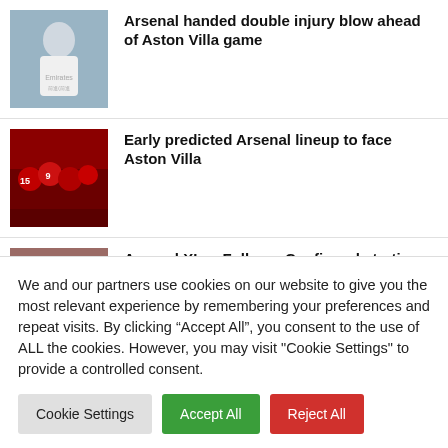[Figure (photo): Arsenal player in white Emirates kit, portrait/close-up]
Arsenal handed double injury blow ahead of Aston Villa game
[Figure (photo): Arsenal players in red celebrating on pitch]
Early predicted Arsenal lineup to face Aston Villa
[Figure (photo): Arsenal players in red lined up on pitch]
Arsenal XI vs Fulham: Confirmed starting lineup and substitutes
We and our partners use cookies on our website to give you the most relevant experience by remembering your preferences and repeat visits. By clicking “Accept All”, you consent to the use of ALL the cookies. However, you may visit "Cookie Settings" to provide a controlled consent.